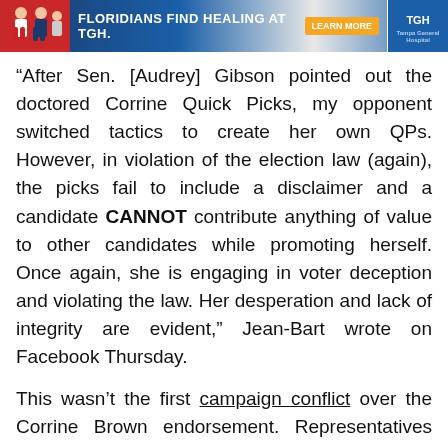[Figure (other): Advertisement banner for TGH (Tampa General Hospital) with text 'FLORIDIANS FIND HEALING AT TGH' and a Learn More button and TGH logo]
“After Sen. [Audrey] Gibson pointed out the doctored Corrine Quick Picks, my opponent switched tactics to create her own QPs. However, in violation of the election law (again), the picks fail to include a disclaimer and a candidate CANNOT contribute anything of value to other candidates while promoting herself. Once again, she is engaging in voter deception and violating the law. Her desperation and lack of integrity are evident,” Jean-Bart wrote on Facebook Thursday.
This wasn’t the first campaign conflict over the Corrine Brown endorsement. Representatives from the two competing campaigns had a squabble this month in the Sherwood Forest